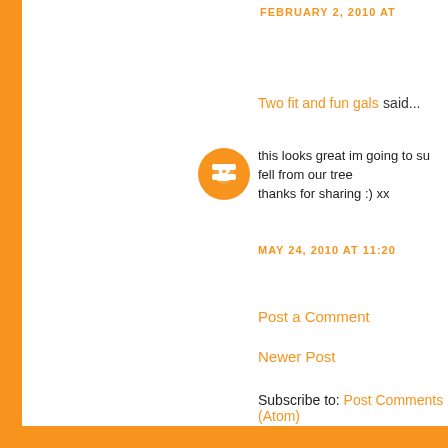FEBRUARY 2, 2010 AT
Two fit and fun gals said...
this looks great im going to su
fell from our tree
thanks for sharing :) xx
MAY 24, 2010 AT 11:20
Post a Comment
Newer Post
Subscribe to: Post Comments (Atom)